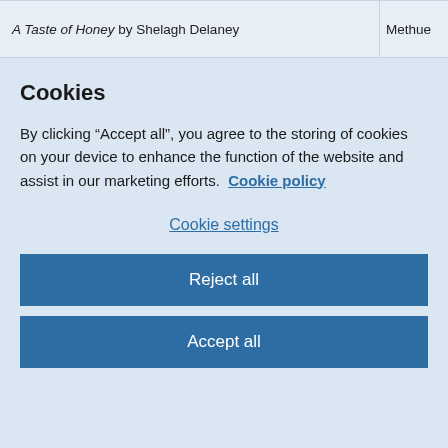A Taste of Honey by Shelagh Delaney | Methue
Cookies
By clicking “Accept all”, you agree to the storing of cookies on your device to enhance the function of the website and assist in our marketing efforts.  Cookie policy
Cookie settings
Reject all
Accept all